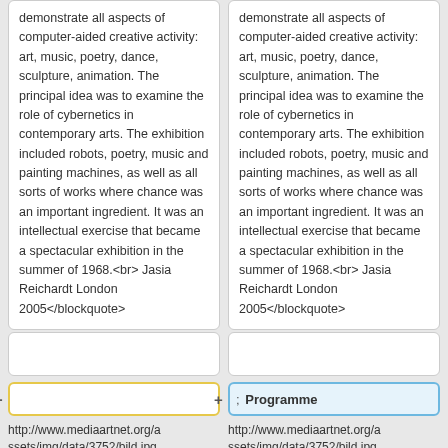demonstrate all aspects of computer-aided creative activity: art, music, poetry, dance, sculpture, animation. The principal idea was to examine the role of cybernetics in contemporary arts. The exhibition included robots, poetry, music and painting machines, as well as all sorts of works where chance was an important ingredient. It was an intellectual exercise that became a spectacular exhibition in the summer of 1968.<br> Jasia Reichardt London 2005</blockquote>
demonstrate all aspects of computer-aided creative activity: art, music, poetry, dance, sculpture, animation. The principal idea was to examine the role of cybernetics in contemporary arts. The exhibition included robots, poetry, music and painting machines, as well as all sorts of works where chance was an important ingredient. It was an intellectual exercise that became a spectacular exhibition in the summer of 1968.<br> Jasia Reichardt London 2005</blockquote>
; Programme
http://www.mediaartnet.org/assets/img/data/3752/bild.jpg
http://www.mediaartnet.org/assets/img/data/3752/bild.jpg